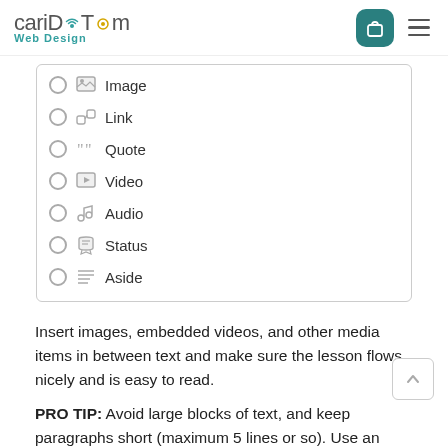cariDotcom Web Design
[Figure (screenshot): A list of radio-button options with icons: Image, Link, Quote, Video, Audio, Status, Aside]
Image
Link
Quote
Video
Audio
Status
Aside
Insert images, embedded videos, and other media items in between text and make sure the lesson flows nicely and is easy to read.
PRO TIP: Avoid large blocks of text, and keep paragraphs short (maximum 5 lines or so). Use an assortment of web-optimized images to break up text so that your content is